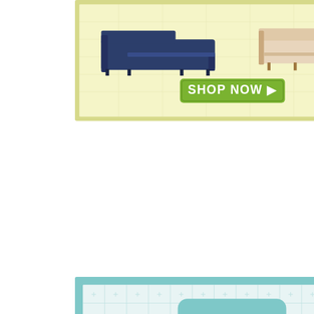[Figure (illustration): Furniture advertisement banner with light yellow/cream background showing two sofas (dark navy sectional on left, light beige sofa on right) and a green 'SHOP NOW' button with arrow]
[Figure (illustration): Facebook social media promotional graphic with light teal/mint grid background, large teal Facebook logo icon, a search bar showing 'decor8hk' with search icon, and a teal thumbs-up like icon at bottom]